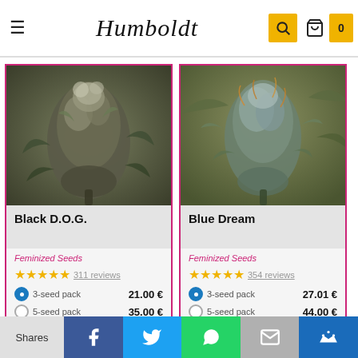Humboldt
[Figure (photo): Close-up photo of Black D.O.G. cannabis flower bud with crystalline trichomes]
Black D.O.G.
Feminized Seeds
311 reviews
3-seed pack  21.00 €
5-seed pack  35.00 €
[Figure (photo): Close-up photo of Blue Dream cannabis flower bud with trichomes and visible leaves]
Blue Dream
Feminized Seeds
354 reviews
3-seed pack  27.01 €
5-seed pack  44.00 €
Shares